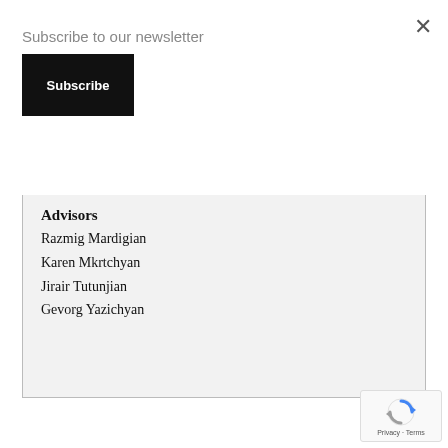×
Subscribe to our newsletter
Subscribe
Khajag Aghazarian Editor-in-chief
Minas Kojayan
Advisors
Razmig Mardigian
Karen Mkrtchyan
Jirair Tutunjian
Gevorg Yazichyan
[Figure (logo): reCAPTCHA badge with spinning arrows icon, Privacy and Terms text]